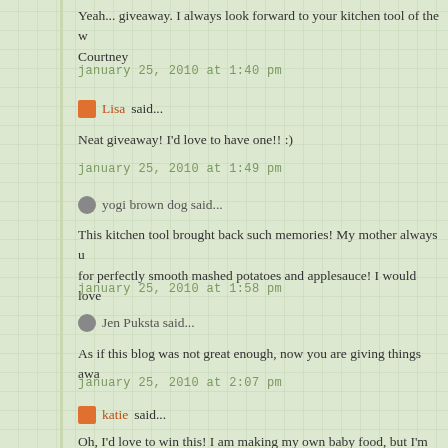Yeah... giveaway. I always look forward to your kitchen tool of the w… Courtney
january 25, 2010 at 1:40 pm
Lisa said...
Neat giveaway! I'd love to have one!! :)
january 25, 2010 at 1:49 pm
yogi brown dog said...
This kitchen tool brought back such memories! My mother always u… for perfectly smooth mashed potatoes and applesauce! I would love…
january 25, 2010 at 1:58 pm
Jen Puksta said...
As if this blog was not great enough, now you are giving things awa…
january 25, 2010 at 2:07 pm
katie said...
Oh, I'd love to win this! I am making my own baby food, but I'm usin…